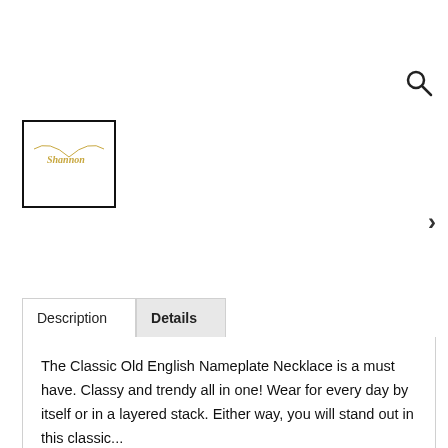[Figure (photo): Search icon (magnifying glass) in the top right area of the page]
[Figure (photo): Thumbnail image of a gold name necklace reading 'Shannon' in Old English font on a delicate gold chain, shown in a black-bordered box]
[Figure (other): Right-arrow navigation chevron on the right side of the page]
Description
Details
The Classic Old English Nameplate Necklace is a must have. Classy and trendy all in one! Wear for every day by itself or in a layered stack. Either way, you will stand out in this classic...